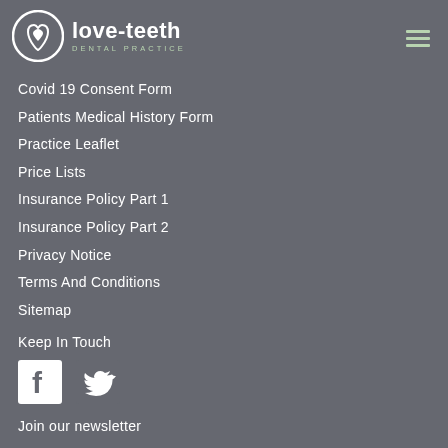[Figure (logo): Love-teeth Dental Practice logo: white circle with tooth/heart icon, bold text 'love-teeth' and subtitle 'DENTAL PRACTICE']
Covid 19 Consent Form
Patients Medical History Form
Practice Leaflet
Price Lists
Insurance Policy Part 1
Insurance Policy Part 2
Privacy Notice
Terms And Conditions
Sitemap
Keep In Touch
[Figure (illustration): Facebook icon (white 'f' on dark square background) and Twitter bird icon (white bird on grey background)]
Join our newsletter